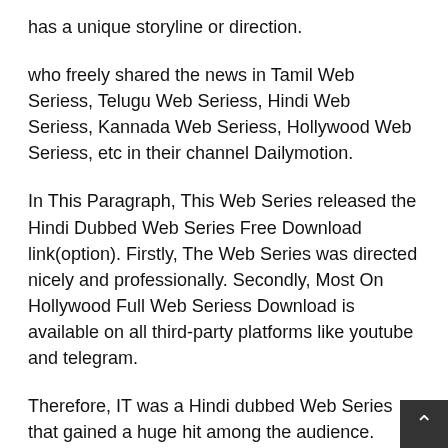has a unique storyline or direction.
who freely shared the news in Tamil Web Seriess, Telugu Web Seriess, Hindi Web Seriess, Kannada Web Seriess, Hollywood Web Seriess, etc in their channel Dailymotion.
In This Paragraph, This Web Series released the Hindi Dubbed Web Series Free Download link(option). Firstly, The Web Series was directed nicely and professionally. Secondly, Most On Hollywood Full Web Seriess Download is available on all third-party platforms like youtube and telegram.
Therefore, IT was a Hindi dubbed Web Series that gained a huge hit among the audience. Hollywood Web Seriess didn't Release on Indian Theater. In other words, these Web Seriess are only releasing on digital platforms like television, Netflix, zee5, zee5, and also